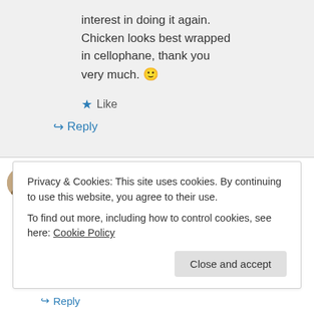interest in doing it again. Chicken looks best wrapped in cellophane, thank you very much. 🙂
★ Like
↪ Reply
imagesbytdashfield on December 19, 2012 at 4:46 am
Privacy & Cookies: This site uses cookies. By continuing to use this website, you agree to their use.
To find out more, including how to control cookies, see here: Cookie Policy
Close and accept
↪ Reply